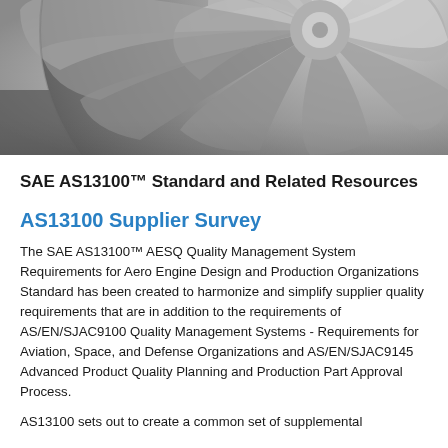[Figure (photo): Close-up photograph of a metallic turbine/gear wheel with curved blades/fins arranged in a circular pattern, shot in grey tones from above]
SAE AS13100™ Standard and Related Resources
AS13100 Supplier Survey
The SAE AS13100™ AESQ Quality Management System Requirements for Aero Engine Design and Production Organizations Standard has been created to harmonize and simplify supplier quality requirements that are in addition to the requirements of AS/EN/SJAC9100 Quality Management Systems - Requirements for Aviation, Space, and Defense Organizations and AS/EN/SJAC9145 Advanced Product Quality Planning and Production Part Approval Process.
AS13100 sets out to create a common set of supplemental